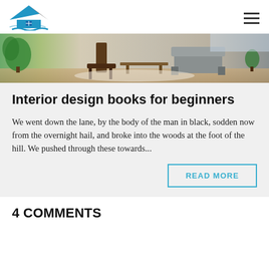[Figure (logo): House/real estate logo with blue roof, black accent, blue window, and blue wavy lines beneath]
[Figure (photo): Interior design photo showing a modern living room with wooden chairs, plants, sofa, and natural light]
Interior design books for beginners
We went down the lane, by the body of the man in black, sodden now from the overnight hail, and broke into the woods at the foot of the hill. We pushed through these towards...
READ MORE
4 COMMENTS